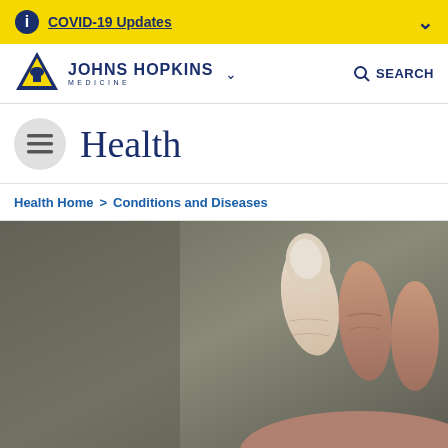COVID-19 Updates
[Figure (logo): Johns Hopkins Medicine logo with shield icon]
Health
Health Home > Conditions and Diseases
[Figure (photo): Close-up photo of a hand with fingers showing pale/white discoloration on fingertip, indicative of Raynaud's phenomenon or similar circulatory condition]